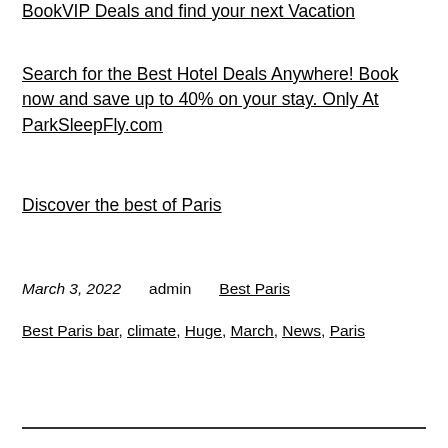BookVIP Deals and find your next Vacation
Search for the Best Hotel Deals Anywhere! Book now and save up to 40% on your stay. Only At ParkSleepFly.com
Discover the best of Paris
March 3, 2022    admin    Best Paris
Best Paris bar, climate, Huge, March, News, Paris